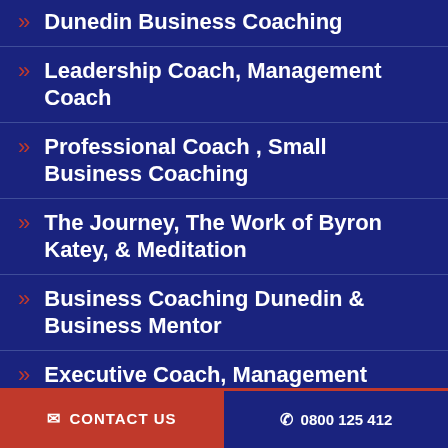Dunedin Business Coaching
Leadership Coach, Management Coach
Professional Coach , Small Business Coaching
The Journey, The Work of Byron Katey, & Meditation
Business Coaching Dunedin & Business Mentor
Executive Coach, Management Coach & CEO Coaching
✉ CONTACT US   ✆ 0800 125 412